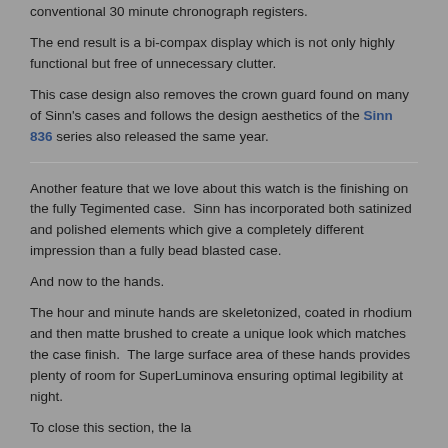conventional 30 minute chronograph registers.
The end result is a bi-compax display which is not only highly functional but free of unnecessary clutter.
This case design also removes the crown guard found on many of Sinn’s cases and follows the design aesthetics of the Sinn 836 series also released the same year.
Another feature that we love about this watch is the finishing on the fully Tegimented case.  Sinn has incorporated both satinized and polished elements which give a completely different impression than a fully bead blasted case.
And now to the hands.
The hour and minute hands are skeletonized, coated in rhodium and then matte brushed to create a unique look which matches the case finish.  The large surface area of these hands provides plenty of room for SuperLuminova ensuring optimal legibility at night.
To close this section, the laser...